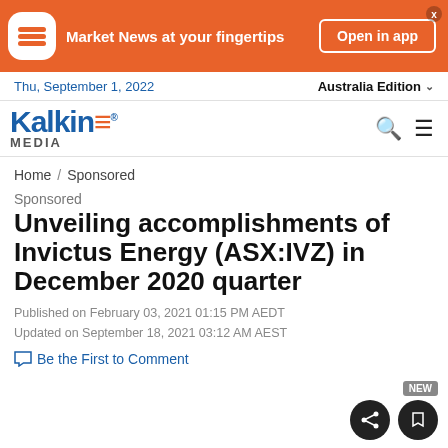[Figure (screenshot): Orange Kalkine Media app promotional banner with app icon, text 'Market News at your fingertips', and 'Open in app' button]
Thu, September 1, 2022    Australia Edition
[Figure (logo): Kalkine Media logo in blue and orange]
Home / Sponsored
Sponsored
Unveiling accomplishments of Invictus Energy (ASX:IVZ) in December 2020 quarter
Published on February 03, 2021 01:15 PM AEDT
Updated on September 18, 2021 03:12 AM AEST
Be the First to Comment